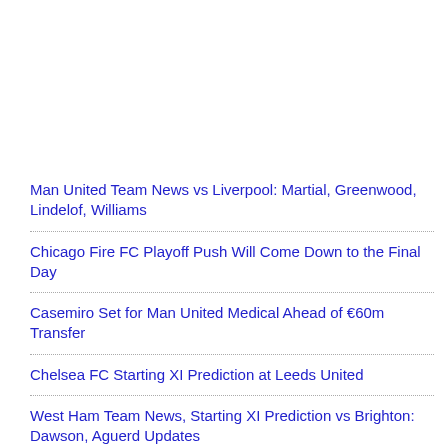Man United Team News vs Liverpool: Martial, Greenwood, Lindelof, Williams
Chicago Fire FC Playoff Push Will Come Down to the Final Day
Casemiro Set for Man United Medical Ahead of €60m Transfer
Chelsea FC Starting XI Prediction at Leeds United
West Ham Team News, Starting XI Prediction vs Brighton: Dawson, Aguerd Updates
Nebraska vs Northwestern in Ireland About More than